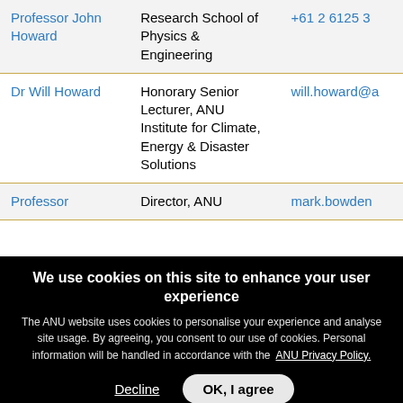| Name | Role | Contact |
| --- | --- | --- |
| Professor John Howard | Research School of Physics & Engineering | +61 2 6125 3… |
| Dr Will Howard | Honorary Senior Lecturer, ANU Institute for Climate, Energy & Disaster Solutions | will.howard@a… |
| Professor | Director, ANU | mark.bowden… |
We use cookies on this site to enhance your user experience
The ANU website uses cookies to personalise your experience and analyse site usage. By agreeing, you consent to our use of cookies. Personal information will be handled in accordance with the ANU Privacy Policy.
Decline   OK, I agree